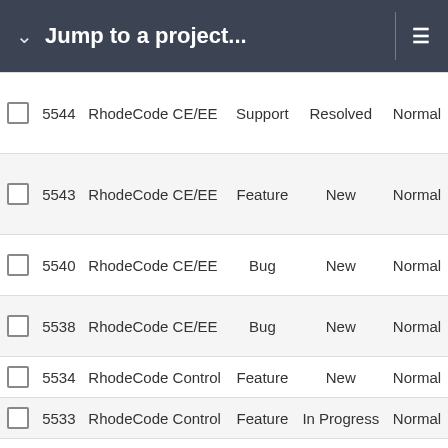Jump to a project...
|  | # | Project | Type | Status | Priority |
| --- | --- | --- | --- | --- | --- |
| ☐ | 5544 | RhodeCode CE/EE | Support | Resolved | Normal |
| ☐ | 5543 | RhodeCode CE/EE | Feature | New | Normal |
| ☐ | 5540 | RhodeCode CE/EE | Bug | New | Normal |
| ☐ | 5538 | RhodeCode CE/EE | Bug | New | Normal |
| ☐ | 5534 | RhodeCode Control | Feature | New | Normal |
| ☐ | 5533 | RhodeCode Control | Feature | In Progress | Normal |
| ☐ | 5535 | RhodeCode Control | Bug | New | Normal |
| ☐ | 5530 | RhodeCode CE/EE | Bug | Resolved | Normal |